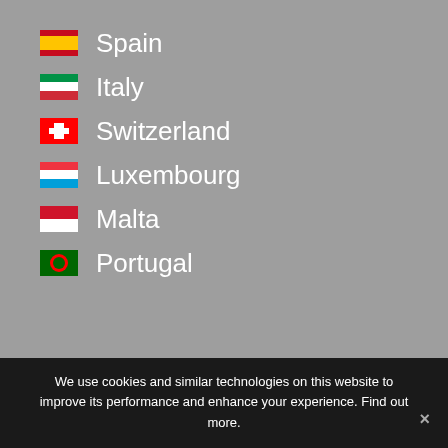Spain
Italy
Switzerland
Luxembourg
Malta
Portugal
[Figure (photo): Union Jack umbrella turned inside-out in the rain on a wet urban street, with buildings and cloudy sky in background]
We use cookies and similar technologies on this website to improve its performance and enhance your experience. Find out more.